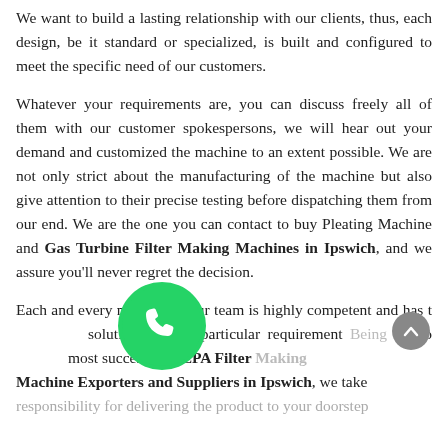We want to build a lasting relationship with our clients, thus, each design, be it standard or specialized, is built and configured to meet the specific need of our customers.
Whatever your requirements are, you can discuss freely all of them with our customer spokespersons, we will hear out your demand and customized the machine to an extent possible. We are not only strict about the manufacturing of the machine but also give attention to their precise testing before dispatching them from our end. We are the one you can contact to buy Pleating Machine and Gas Turbine Filter Making Machines in Ipswich, and we assure you'll never regret the decision.
Each and every member of our team is highly competent and has the best solution to your particular requirement. Being one of the most successful HEPA Filter Making Machine Exporters and Suppliers in Ipswich, we take responsibility for delivering the product to your doorstep.
[Figure (logo): WhatsApp green circular icon with phone handset symbol]